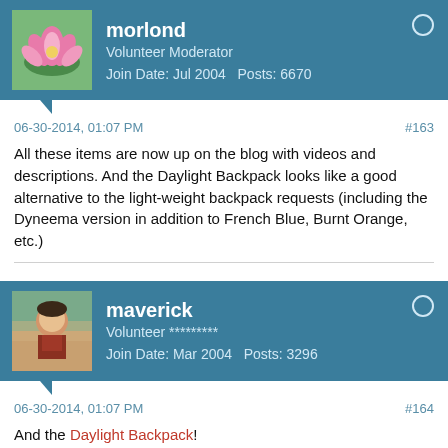morlond | Volunteer Moderator | Join Date: Jul 2004 | Posts: 6670
06-30-2014, 01:07 PM  #163
All these items are now up on the blog with videos and descriptions. And the Daylight Backpack looks like a good alternative to the light-weight backpack requests (including the Dyneema version in addition to French Blue, Burnt Orange, etc.)
maverick | Volunteer ********* | Join Date: Mar 2004 | Posts: 3296
06-30-2014, 01:07 PM  #164
And the Daylight Backpack!
-m